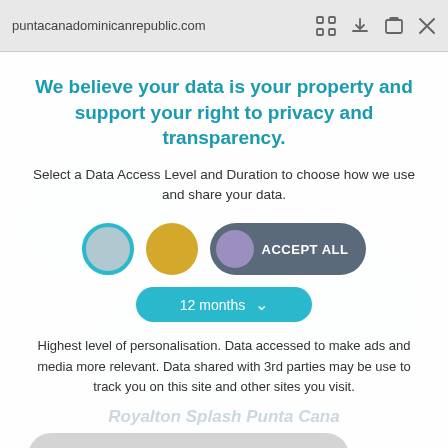puntacanadominicanrepublic.com
We believe your data is your property and support your right to privacy and transparency.
Select a Data Access Level and Duration to choose how we use and share your data.
[Figure (other): Three privacy level selector circles (empty teal circle, filled gold circle, purple toggle knob with 'ACCEPT ALL' button in dark grey rounded rectangle) and a '12 months' dropdown selector in teal]
Highest level of personalisation. Data accessed to make ads and media more relevant. Data shared with 3rd parties may be use to track you on this site and other sites you visit.
Royalton Splash Punta Cana
Save my preferences
Customize